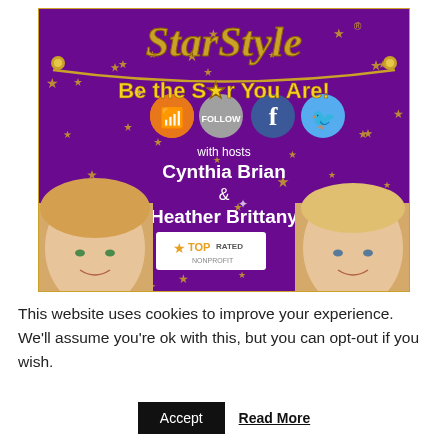[Figure (illustration): StarStyle show banner with purple starry background, gold 'StarStyle' logo at top, social media icons (RSS, Follow, Facebook, Twitter), text 'Be the S★r You Are!' with hosts Cynthia Brian and Heather Brittany, two blonde women photos, and 'TOP RATED NONPROFIT' badge.]
This website uses cookies to improve your experience. We'll assume you're ok with this, but you can opt-out if you wish.
Accept   Read More